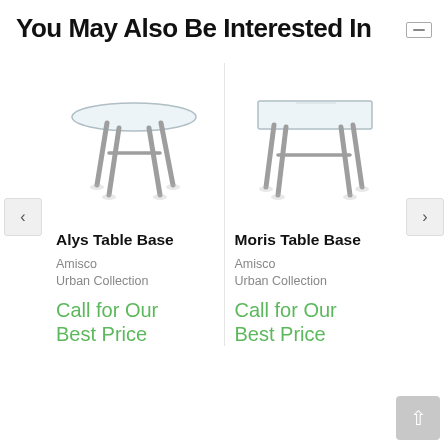You May Also Be Interested In
[Figure (photo): Alys Table Base - a round glass-top table with silver metal legs]
[Figure (photo): Moris Table Base - a rectangular glass-top table with silver metal legs]
Alys Table Base
Moris Table Base
Amisco
Urban Collection
Call for Our Best Price
Amisco
Urban Collection
Call for Our Best Price